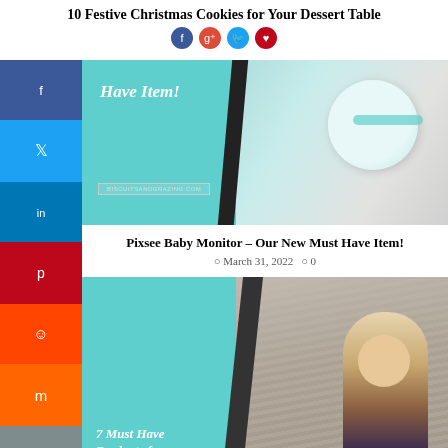10 Festive Christmas Cookies for Your Dessert Table
[Figure (screenshot): Social share sidebar with Facebook, Twitter, LinkedIn, Pinterest, Reddit, Mix, Email, and back arrow buttons on the left side]
[Figure (photo): Pixsee Baby Monitor device photo on teal background with 'Have Item!' overlay text and biscuitsandgrazing.com watermark]
Pixsee Baby Monitor – Our New Must Have Item!
March 31, 2022   0
[Figure (photo): Baby sitting in gray sofa chair, photo with teal overlay and '7 Must Have Products for Second Baby' text overlay]